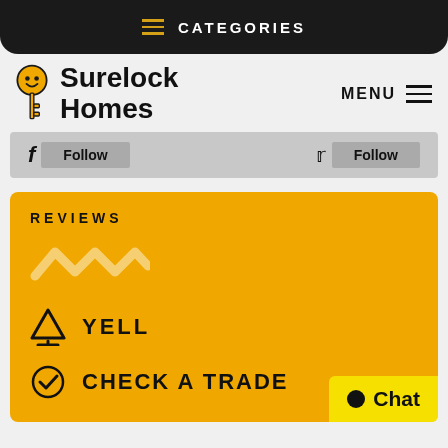CATEGORIES
Surelock Homes
MENU
Follow  Follow
REVIEWS
[Figure (illustration): Waveform / squiggle logo in light yellow]
YELL
CHECK A TRADE
Chat